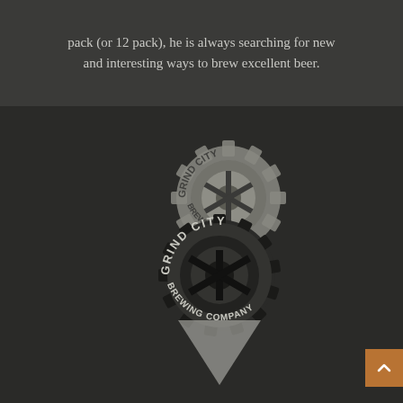pack (or 12 pack), he is always searching for new and interesting ways to brew excellent beer.
[Figure (logo): Grind City Brewing Company logo — two overlapping gear/badge shapes (one larger gray gear behind a smaller black gear/shield), with text 'GRIND CITY' arced along the top and 'BREWING COMPANY' arced along the bottom, displayed on a dark textured background.]